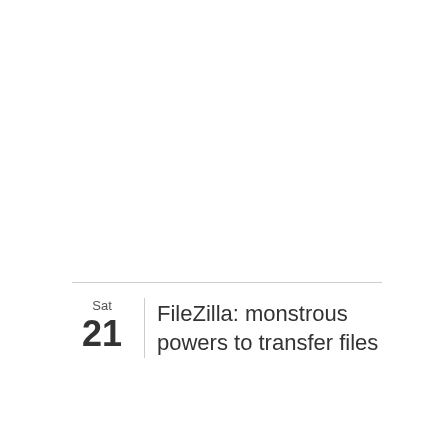Sat 21 FileZilla: monstrous powers to transfer files